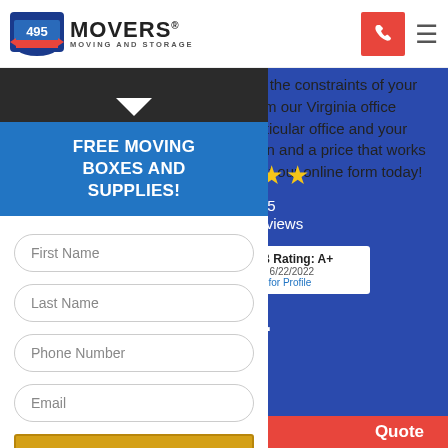[Figure (logo): 495 Movers Moving and Storage logo with shield icon]
office move. Make sure it all fits within the constraints of your budget... g from our Virginia office r particular office and your g plan and a price that works fill out our online form today!
[Figure (screenshot): Dark dropdown overlay with white downward arrow]
FREE MOVING BOXES AND SUPPLIES!
First Name
Last Name
Phone Number
Email
SUBMIT
VOID WHERE PROHIBITED / LIMIT ONE
[Figure (infographic): Star rating panel showing stars, out of 5, 9 Reviews, BBB Rating A+ as of 6/22/2022, Click for Profile, inc. text, and Quote button]
BBB Rating: A+
As of 6/22/2022
Click for Profile
Quote